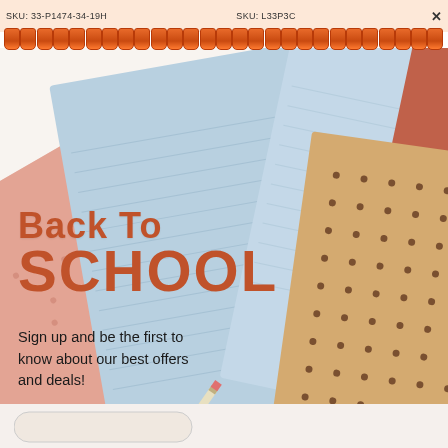SKU: 33-P1474-34-19H   SKU: L33P3C
[Figure (illustration): Back to school promotional image with overlapping notebooks in pastel colors: light blue lined notebook, pink/salmon notebook, and a kraft paper dotted notebook with a terracotta color block corner. A pencil is partially visible. Background is white/light.]
Back To SCHOOL
Sign up and be the first to know about our best offers and deals!